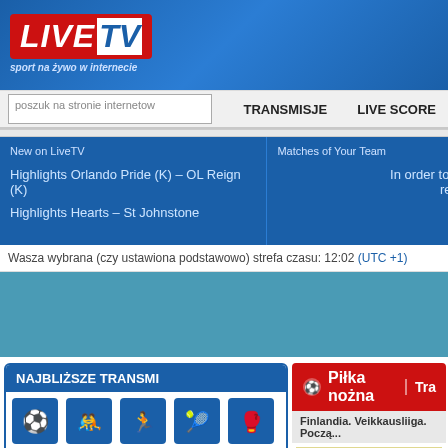[Figure (logo): LiveTV logo - red background box with LIVE in white italic and TV in blue on white, tagline 'sport na żywo w internecie' below, on blue gradient header background]
poszuk na stronie internetow   TRANSMISJE   LIVE SCORE
New on LiveTV
Highlights Orlando Pride (K) – OL Reign (K)
Highlights Hearts – St Johnstone
Matches of Your Team
In order to view... rejes...
Wasza wybrana (czy ustawiona podstawowo) strefa czasu: 12:02 (UTC +1)
[Figure (infographic): Teal/blue colored advertisement area]
NAJBLIŻSZE TRANSMI
[Figure (infographic): Grid of sport icons (soccer, two athletes, running, tennis, martial arts, car/sports, wrestling, running, hamburger menu) on blue square backgrounds]
Dzisiaj (29 Sierpień, Poniedziałek)
Piłka nożna | Tra...
Finlandia. Veikkausliiga. Począ...
Ta transmisja jest zachowana w nadchodzące transmisje →
wynik gry – 0:2 (0:1).